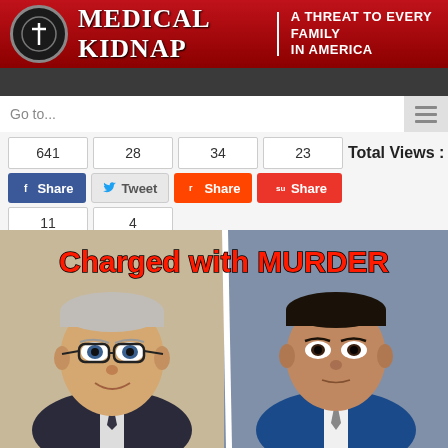[Figure (logo): Medical Kidnap website header banner with logo, title 'Medical Kidnap', and subtitle 'A Threat to Every Family in America']
Go to...
641  28  34  23   Total Views : 18,203
Share  Tweet  Share  Share  Share  Email
11  4
[Figure (photo): Two men side by side with red text overlay reading 'Charged with MURDER']